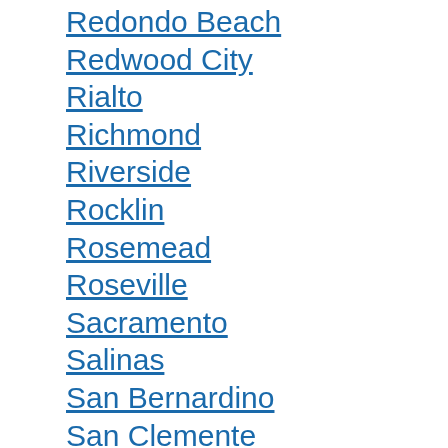Redondo Beach
Redwood City
Rialto
Richmond
Riverside
Rocklin
Rosemead
Roseville
Sacramento
Salinas
San Bernardino
San Clemente
San Diego
San Francisco
San Jose